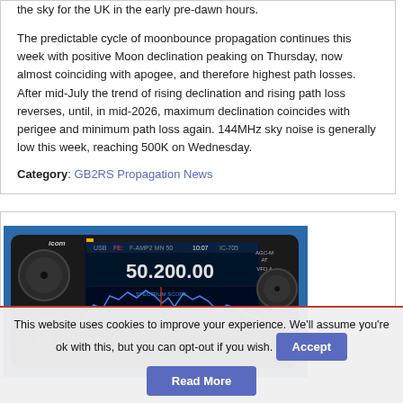the sky for the UK in the early pre-dawn hours. The predictable cycle of moonbounce propagation continues this week with positive Moon declination peaking on Thursday, now almost coinciding with apogee, and therefore highest path losses. After mid-July the trend of rising declination and rising path loss reverses, until, in mid-2026, maximum declination coincides with perigee and minimum path loss again. 144MHz sky noise is generally low this week, reaching 500K on Wednesday.
Category: GB2RS Propagation News
[Figure (photo): Photo of an Icom IC-705 (or similar) radio transceiver showing frequency display 50.200.00 with spectrum scope visible on screen, against a blue background.]
This website uses cookies to improve your experience. We'll assume you're ok with this, but you can opt-out if you wish.